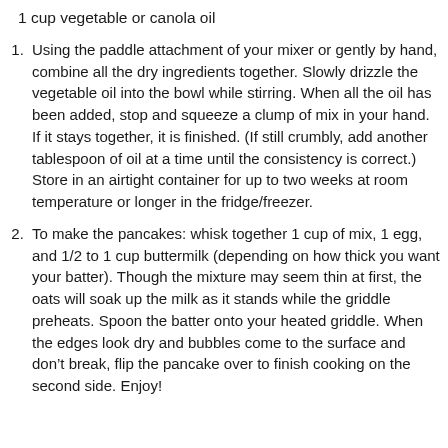1 cup vegetable or canola oil
Using the paddle attachment of your mixer or gently by hand, combine all the dry ingredients together. Slowly drizzle the vegetable oil into the bowl while stirring. When all the oil has been added, stop and squeeze a clump of mix in your hand. If it stays together, it is finished. (If still crumbly, add another tablespoon of oil at a time until the consistency is correct.) Store in an airtight container for up to two weeks at room temperature or longer in the fridge/freezer.
To make the pancakes: whisk together 1 cup of mix, 1 egg, and 1/2 to 1 cup buttermilk (depending on how thick you want your batter). Though the mixture may seem thin at first, the oats will soak up the milk as it stands while the griddle preheats. Spoon the batter onto your heated griddle. When the edges look dry and bubbles come to the surface and don’t break, flip the pancake over to finish cooking on the second side. Enjoy!